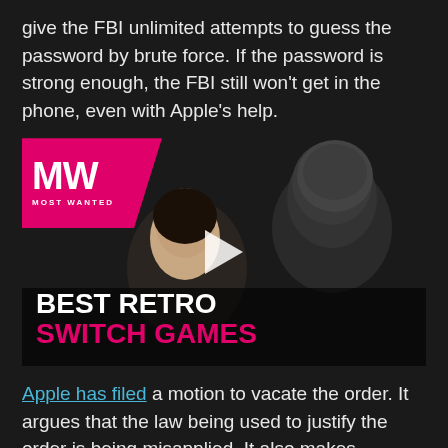give the FBI unlimited attempts to guess the password by brute force. If the password is strong enough, the FBI still won't get in the phone, even with Apple's help.
[Figure (screenshot): Video thumbnail for 'Best Retro Switch Games' from Most Wanted (MW) showing two animated characters facing each other. A pink diagonal MW Most Wanted logo badge is in the top-left corner. A white play button triangle is centered. Text overlay reads 'BEST RETRO' in white and 'SWITCH GAMES' in pink at the bottom.]
Apple has filed a motion to vacate the order. It argues that the law being used to justify the order is being misapplied. It also makes additional claims that Apple's first and fifth amendment rights are being violated by the order. Regardless of the outcome,...